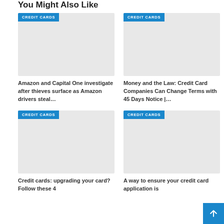You Might Also Like
[Figure (screenshot): Credit card article thumbnail placeholder with CREDIT CARDS badge]
Amazon and Capital One investigate after thieves surface as Amazon drivers steal…
[Figure (screenshot): Credit card article thumbnail placeholder with CREDIT CARDS badge]
Money and the Law: Credit Card Companies Can Change Terms with 45 Days Notice |…
[Figure (screenshot): Credit card article thumbnail placeholder with CREDIT CARDS badge]
Credit cards: upgrading your card? Follow these 4
[Figure (screenshot): Credit card article thumbnail placeholder with CREDIT CARDS badge]
A way to ensure your credit card application is